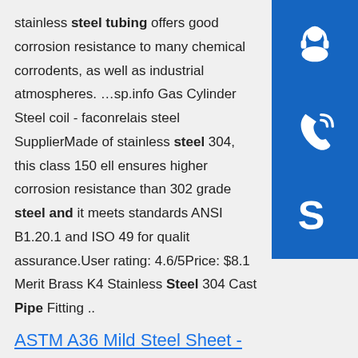stainless steel tubing offers good corrosion resistance to many chemical corrodents, as well as industrial atmospheres. …sp.info Gas Cylinder Steel coil - faconrelais steel SupplierMade of stainless steel 304, this class 150 ell ensures higher corrosion resistance than 302 grade steel and it meets standards ANSI B1.20.1 and ISO 49 for quality assurance.User rating: 4.6/5Price: $8.1 Merit Brass K4 Stainless Steel 304 Cast Pipe Fitting ..
[Figure (other): Three blue sidebar buttons: headset/support icon, phone/call icon, and Skype icon]
ASTM A36 Mild Steel Sheet - Carbon Steel/Galvanized ...
ASTM A36 Mild Steel Sheet,A36 Carbon Steel Plate. A36 Steel plate,A36 Steel Sheet. Steel sheet, Steel plate. STANDARD. GB/T 3522,GB/T 3524,GB/T 13237,GB/T 16270,GB712,GB713,sp.info China Gas Cylinder Steel Plate Suppliers, Manufacturers ...Gas Cylinder Steel Plate